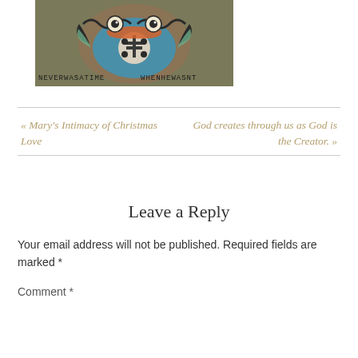[Figure (illustration): Decorative folk-art style owl illustration with turquoise, brown, and orange colors. Text at bottom reads 'NEVERWASATIME WHENHEWASNT']
« Mary's Intimacy of Christmas Love
God creates through us as God is the Creator. »
Leave a Reply
Your email address will not be published. Required fields are marked *
Comment *